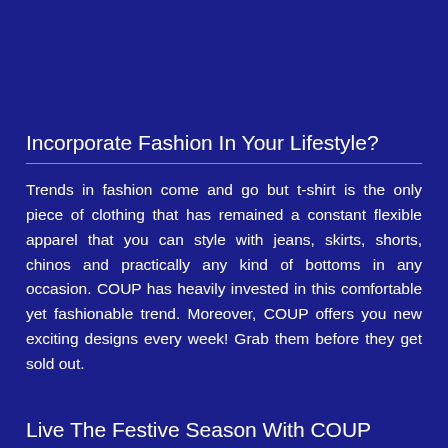Incorporate Fashion In Your Lifestyle?
Trends in fashion come and go but t-shirt is the only piece of clothing that has remained a constant flexible apparel that you can style with jeans, skirts, shorts, chinos and practically any kind of bottoms in any occasion. COUP has heavily invested in this comfortable yet fashionable trend. Moreover, COUP offers you new exciting designs every week! Grab them before they get sold out.
Live The Festive Season With COUP